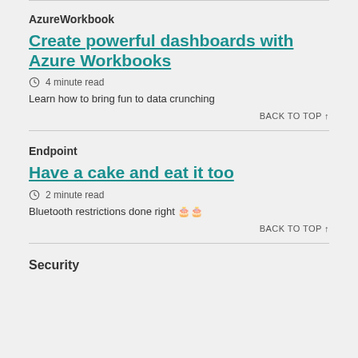AzureWorkbook
Create powerful dashboards with Azure Workbooks
4 minute read
Learn how to bring fun to data crunching
BACK TO TOP ↑
Endpoint
Have a cake and eat it too
2 minute read
Bluetooth restrictions done right 🎂🎂
BACK TO TOP ↑
Security